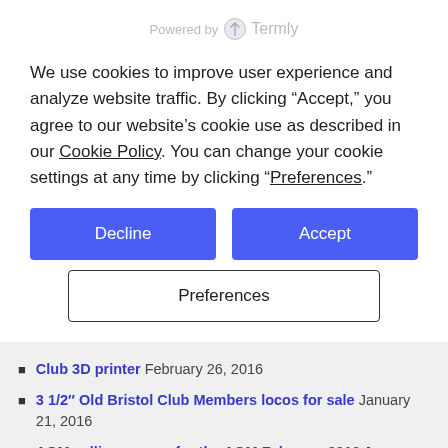Powered by Termly
We use cookies to improve user experience and analyze website traffic. By clicking “Accept,” you agree to our website’s cookie use as described in our Cookie Policy. You can change your cookie settings at any time by clicking “Preferences.”
Club 3D printer February 26, 2016
3 1/2″ Old Bristol Club Members locos for sale January 21, 2016
AGM calling papers for the AGM February 2016 January 21, 2016
Minutes of the AGM February 2015 January 21, 2016
Looking for Advice January 4, 2016
COG & Newsletters on Website December 9, 2015